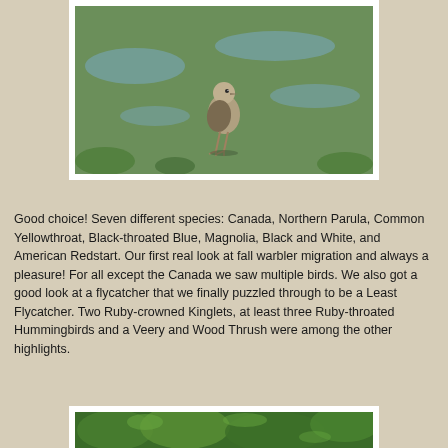[Figure (photo): A shorebird (likely a sandpiper or plover) standing in a shallow wetland area covered with green aquatic vegetation and patches of water.]
Good choice! Seven different species: Canada, Northern Parula, Common Yellowthroat, Black-throated Blue, Magnolia, Black and White, and American Redstart. Our first real look at fall warbler migration and always a pleasure! For all except the Canada we saw multiple birds. We also got a good look at a flycatcher that we finally puzzled through to be a Least Flycatcher. Two Ruby-crowned Kinglets, at least three Ruby-throated Hummingbirds and a Veery and Wood Thrush were among the other highlights.
[Figure (photo): A partial view of green foliage, likely showing a bird partially obscured by leaves.]